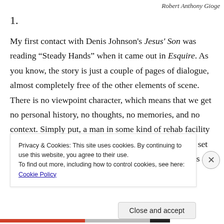Robert Anthony Gioge
1.
My first contact with Denis Johnson's Jesus' Son was reading “Steady Hands” when it came out in Esquire. As you know, the story is just a couple of pages of dialogue, almost completely free of the other elements of scene. There is no viewpoint character, which means that we get no personal history, no thoughts, no memories, and no context. Simply put, a man in some kind of rehab facility shaves a fellow patient because he has the less-shaky set of hands; while he’s at it, the man getting shaved talks a
Privacy & Cookies: This site uses cookies. By continuing to use this website, you agree to their use.
To find out more, including how to control cookies, see here: Cookie Policy
Close and accept